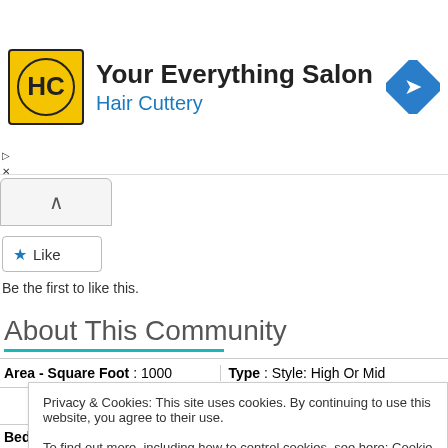[Figure (logo): Hair Cuttery ad banner with HC logo in yellow circle, title 'Your Everything Salon', subtitle 'Hair Cuttery', and a blue navigation/directions diamond icon]
[Figure (screenshot): Collapse/chevron button UI element]
[Figure (screenshot): Star Like button]
Be the first to like this.
About This Community
Area - Square Foot : 1000     Type : Style: High Or Mid
Privacy & Cookies: This site uses cookies. By continuing to use this website, you agree to their use.
To find out more, including how to control cookies, see here: Cookie Policy
[Figure (screenshot): Close and accept button]
Bedrooms : 2     Bathrooms : 2